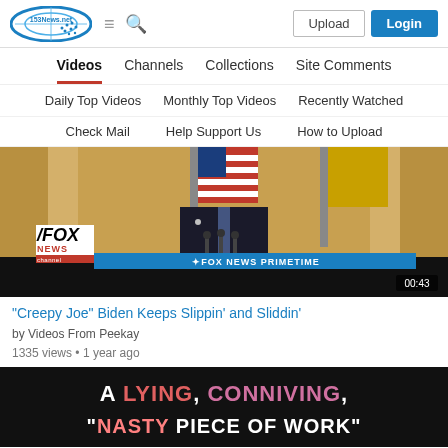[Figure (screenshot): 153News.net website header with logo, hamburger menu, search icon, Upload button, and Login button]
Videos | Channels | Collections | Site Comments
Daily Top Videos
Monthly Top Videos
Recently Watched
Check Mail
Help Support Us
How to Upload
[Figure (screenshot): Fox News Primetime video thumbnail showing a man in a suit at a podium with American flag, with Fox News logo and ticker bar showing FOX NEWS PRIMETIME, duration 00:43]
"Creepy Joe" Biden Keeps Slippin' and Sliddin'
by Videos From Peekay
1335 views • 1 year ago
[Figure (screenshot): Video thumbnail with dark background and text: A LYING, CONNIVING, "NASTY PIECE OF WORK"]